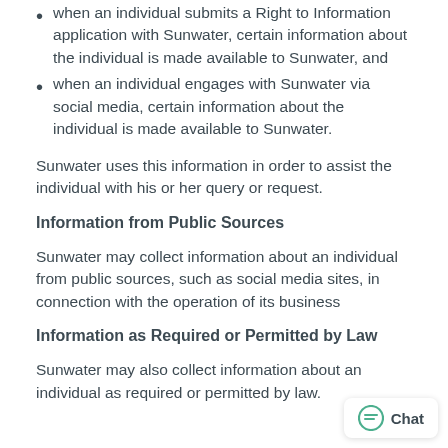when an individual submits a Right to Information application with Sunwater, certain information about the individual is made available to Sunwater, and
when an individual engages with Sunwater via social media, certain information about the individual is made available to Sunwater.
Sunwater uses this information in order to assist the individual with his or her query or request.
Information from Public Sources
Sunwater may collect information about an individual from public sources, such as social media sites, in connection with the operation of its business
Information as Required or Permitted by Law
Sunwater may also collect information about an individual as required or permitted by law.